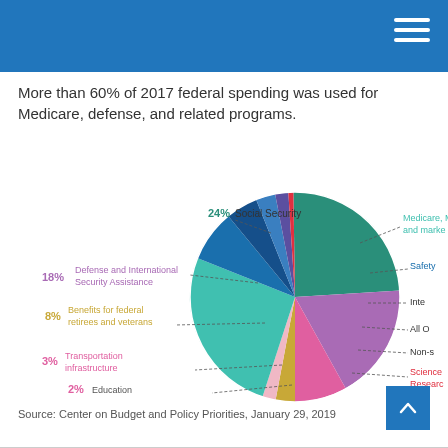More than 60% of 2017 federal spending was used for Medicare, defense, and related programs.
[Figure (pie-chart): 2017 Federal Spending]
Source: Center on Budget and Policy Priorities, January 29, 2019